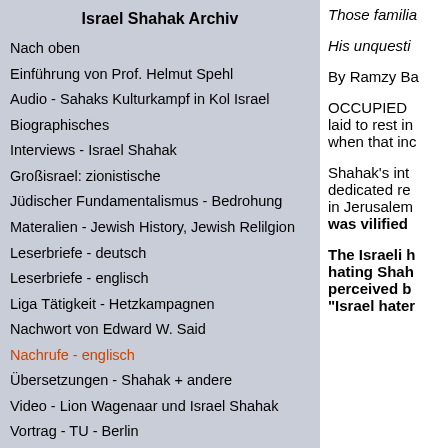Israel Shahak Archiv
Nach oben
Einführung von Prof. Helmut Spehl
Audio - Sahaks Kulturkampf in Kol Israel
Biographisches
Interviews - Israel Shahak
Großisrael: zionistische
Jüdischer Fundamentalismus - Bedrohung
Materialien - Jewish History, Jewish Relilgion
Leserbriefe - deutsch
Leserbriefe - englisch
Liga Tätigkeit - Hetzkampagnen
Nachwort von Edward W. Said
Nachrufe - englisch
Übersetzungen - Shahak + andere
Video - Lion Wagenaar und Israel Shahak
Vortrag - TU - Berlin
Vorträge von Israel Shahk
Prof. Helmut Spehl über Helmut Spehl
Helmut Spehl Lion Wagenaar zum Gedächtnis
Those familia
His unquesti
By Ramzy Ba
OCCUPIED laid to rest in when that inc
Shahak's int dedicated re in Jerusalem was vilified
The Israeli h hating Shah perceived b "Israel hater